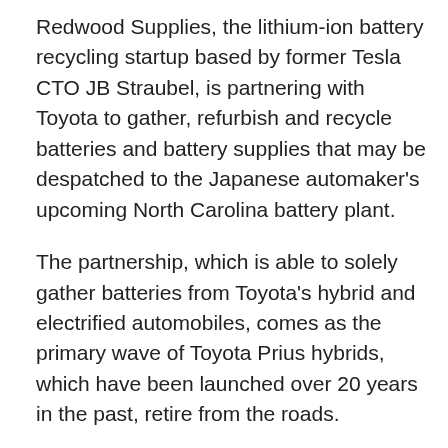Redwood Supplies, the lithium-ion battery recycling startup based by former Tesla CTO JB Straubel, is partnering with Toyota to gather, refurbish and recycle batteries and battery supplies that may be despatched to the Japanese automaker's upcoming North Carolina battery plant.
The partnership, which is able to solely gather batteries from Toyota's hybrid and electrified automobiles, comes as the primary wave of Toyota Prius hybrids, which have been launched over 20 years in the past, retire from the roads.
It's additionally the newest in a string of partnerships between Redwood and OEMs, together with Proterra, Ford, Volvo and Panasonic, which is supplying batteries to Tesla's Nevada gigafactory. With the approaching electrical car takeover, demand for battery supplies, notably ones which are produced regionally, is skyrocketing. By partnering with Toyota and different automakers, Redwood